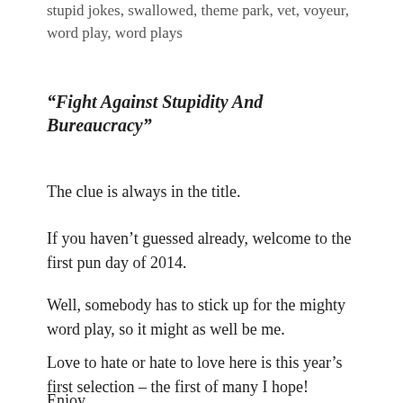stupid jokes, swallowed, theme park, vet, voyeur, word play, word plays
“Fight Against Stupidity And Bureaucracy”
The clue is always in the title.
If you haven’t guessed already, welcome to the first pun day of 2014.
Well, somebody has to stick up for the mighty word play, so it might as well be me.
Love to hate or hate to love here is this year’s first selection – the first of many I hope!
Enjoy.